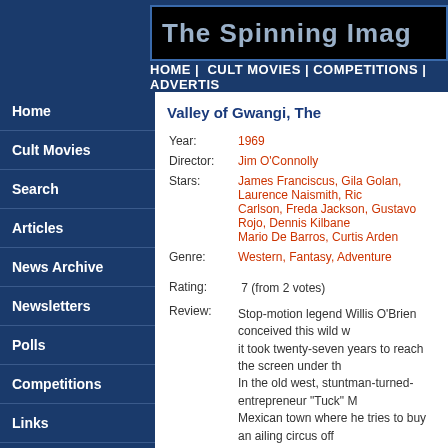The Spinning Ima
HOME | CULT MOVIES | COMPETITIONS | ADVERTIS
Home
Cult Movies
Search
Articles
News Archive
Newsletters
Polls
Competitions
Links
Advertise
Valley of Gwangi, The
| Field | Value |
| --- | --- |
| Year: | 1969 |
| Director: | Jim O'Connolly |
| Stars: | James Franciscus, Gila Golan, Laurence Naismith, Ric Carlson, Freda Jackson, Gustavo Rojo, Dennis Kilbane, Mario De Barros, Curtis Arden |
| Genre: | Western, Fantasy, Adventure |
| Rating: | 7 (from 2 votes) |
| Review: | Stop-motion legend Willis O'Brien conceived this wild w... it took twenty-seven years to reach the screen under th... In the old west, stuntman-turned-entrepreneur "Tuck" M... Mexican town where he tries to buy an ailing circus off... Golan). But T.J. plans to revive her fortunes thanks to a... Tuck, aided by British palaeontologist Professor Horace... Mexican monster-fan Lope (Curtis Arden), learns is a p... |
Gypsy woman Madame Zorina (Freda Jackson) belie... gang of thieves, aided by Bromley who hopes it will lea... Lope are roped into this dangerous escapade, with T.J...